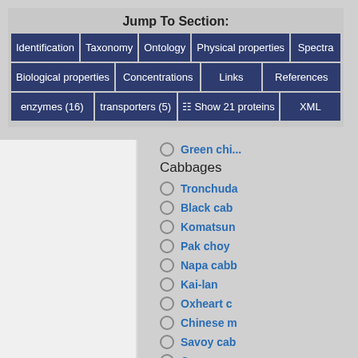Jump To Section:
Identification
Taxonomy
Ontology
Physical properties
Spectra
Biological properties
Concentrations
Links
References
enzymes (16)
transporters (5)
Show 21 proteins
XML
Cabbages
Green chi...
Tronchuda
Black cab
Komatsun
Pak choy
Napa cabb
Kai-lan
Oxheart c
Chinese m
Savoy cab
Common
Rapini
Cauliflowe